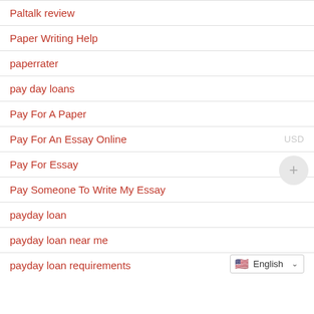Paltalk review
Paper Writing Help
paperrater
pay day loans
Pay For A Paper
Pay For An Essay Online
Pay For Essay
Pay Someone To Write My Essay
payday loan
payday loan near me
payday loan requirements